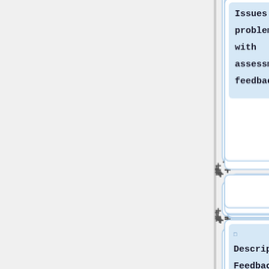[Figure (flowchart): A vertical flowchart showing collapsible tree nodes: 'Issues and problems with assessment feedback', an empty node, 'Descriptive Feedback', an empty node, 'Motivating Students', an empty node, and 'Types of Assignments:' — each separated by '+' connector symbols. The left portion of the page is a gray sidebar panel.]